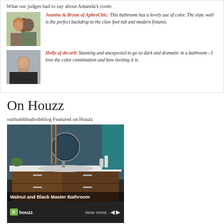What our judges had to say about Amanda's room:
Jeanine & Bryan of AphroChic: This bathroom has a lovely use of color. The slate wall is the perfect backdrop to the claw foot tub and modern fixtures.
[Figure (photo): Photo of Jeanine and Bryan of AphroChic, a couple posing together outdoors]
Holly of decor8: Stunning and unexpected to go so dark and dramatic in a bathroom - I love the color combination and how inviting it is.
[Figure (photo): Photo of Holly of decor8, a woman sitting indoors]
On Houzz
ourhumbleabodeblog Featured on Houzz
[Figure (screenshot): Houzz featured listing showing 'Walnut and Black Master Bathroom' with a modern bathroom vanity featuring walnut cabinets, black countertop, round mirror, and slate-colored walls. Bottom bar shows Houzz logo, 'view more...' text and navigation arrows.]